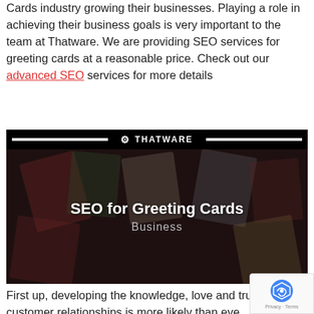Cards industry growing their businesses. Playing a role in achieving their business goals is very important to the team at Thatware. We are providing SEO services for greeting cards at a reasonable price. Check out our advanced SEO services for more details
[Figure (illustration): Thatware branded banner image with dark overlay showing greeting cards in the background. Text reads 'SEO for Greeting Cards' in bold white with 'Business' in grey below. Header bar reads '@ THATWARE' with thick black lines on either side.]
First up, developing the knowledge, love and trust of customer relationships is more likely than ever to happen online. Simply put, a friendly and